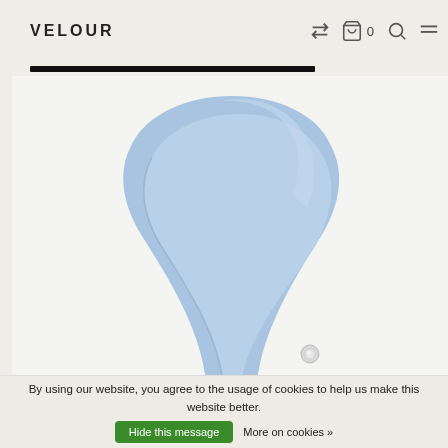VELOUR
[Figure (photo): Close-up product photo of a light blue leather handbag strap arching upward against a light grey/white background, with two silver rivets visible at the bottom ends of the strap.]
By using our website, you agree to the usage of cookies to help us make this website better.
Hide this message   More on cookies »